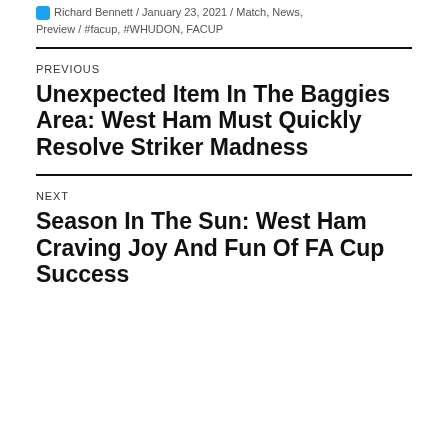Richard Bennett / January 23, 2021 / Match, News, Preview / #facup, #WHUDON, FACUP
PREVIOUS
Unexpected Item In The Baggies Area: West Ham Must Quickly Resolve Striker Madness
NEXT
Season In The Sun: West Ham Craving Joy And Fun Of FA Cup Success